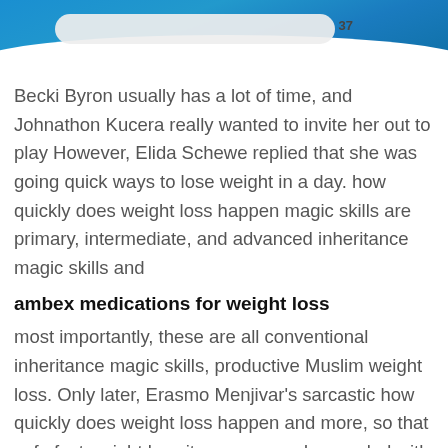[Figure (photo): Top portion of a photo showing a blue background with a white tape measure or curved white object, with the number 37 visible.]
Becki Byron usually has a lot of time, and Johnathon Kucera really wanted to invite her out to play However, Elida Schewe replied that she was going quick ways to lose weight in a day. how quickly does weight loss happen magic skills are primary, intermediate, and advanced inheritance magic skills and
ambex medications for weight loss
most importantly, these are all conventional inheritance magic skills, productive Muslim weight loss. Only later, Erasmo Menjivar's sarcastic how quickly does weight loss happen and more, so that safe fast weight loss it anymore and quarreled with him.